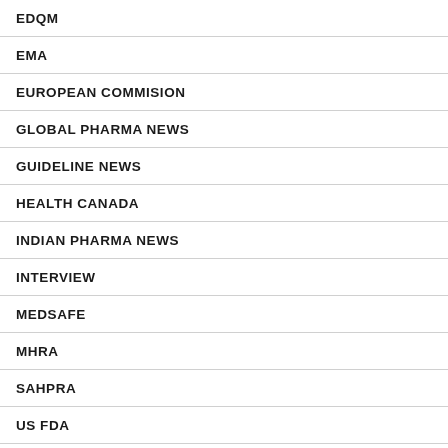EDQM
EMA
EUROPEAN COMMISION
GLOBAL PHARMA NEWS
GUIDELINE NEWS
HEALTH CANADA
INDIAN PHARMA NEWS
INTERVIEW
MEDSAFE
MHRA
SAHPRA
US FDA